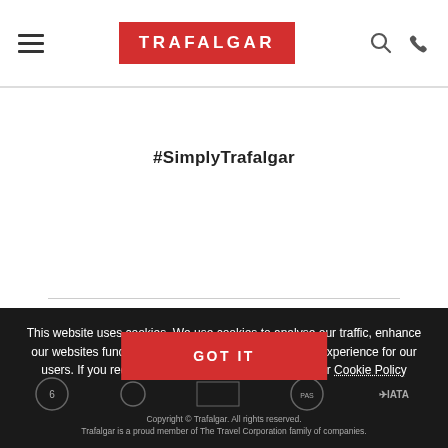TRAFALGAR navigation header with hamburger menu, logo, search and phone icons
#SimplyTrafalgar
This website uses cookies. We use cookies to analyse our traffic, enhance our websites functionality and performance and better experience for our users. If you require more information, please view our Cookie Policy
[Figure (other): GOT IT button (red/coral background, white bold text)]
[Figure (other): Footer logos row: Travel Corporation, and other partner logos including IATA]
Copyright © Trafalgar. All rights reserved. Trafalgar is a proud member of The Travel Corporation family of companies.